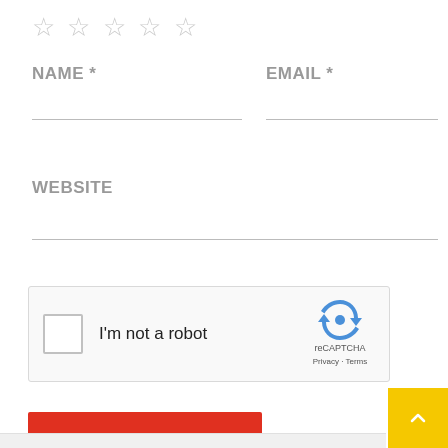[Figure (other): Five empty star rating icons (☆☆☆☆☆)]
NAME *
EMAIL *
WEBSITE
[Figure (other): reCAPTCHA widget with checkbox labeled 'I'm not a robot', reCAPTCHA logo, Privacy and Terms links]
Post Comment
[Figure (other): Yellow scroll-to-top button with upward caret arrow]